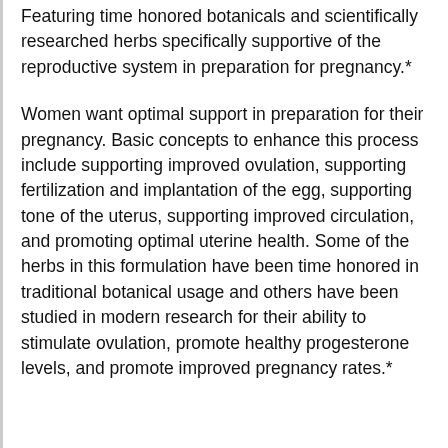Featuring time honored botanicals and scientifically researched herbs specifically supportive of the reproductive system in preparation for pregnancy.*
Women want optimal support in preparation for their pregnancy. Basic concepts to enhance this process include supporting improved ovulation, supporting fertilization and implantation of the egg, supporting tone of the uterus, supporting improved circulation, and promoting optimal uterine health. Some of the herbs in this formulation have been time honored in traditional botanical usage and others have been studied in modern research for their ability to stimulate ovulation, promote healthy progesterone levels, and promote improved pregnancy rates.*